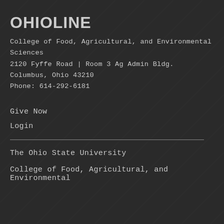OHIOLINE
College of Food, Agricultural, and Environmental Sciences
2120 Fyffe Road | Room 3 Ag Admin Bldg.
Columbus, Ohio 43210
Phone: 614-292-6181
Give Now
Login
The Ohio State University
College of Food, Agricultural, and Environmental